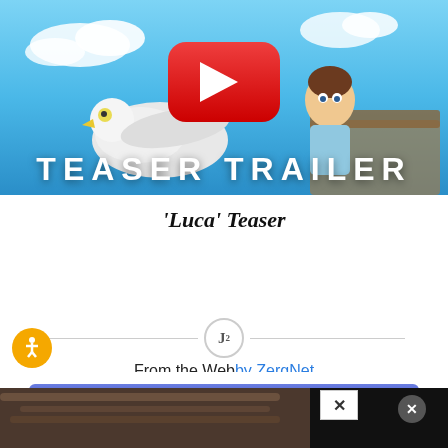[Figure (screenshot): YouTube video thumbnail for 'Luca' Teaser Trailer showing animated characters riding a seagull against a blue sky, with YouTube play button overlay and 'TEASER TRAILER' text]
'Luca' Teaser
[Figure (other): Divider with circular icon containing superscript J2 between two horizontal lines]
From the Web by ZergNet
[Figure (screenshot): Partial image preview of a person's hair visible at bottom, with ad overlay elements including X close buttons]
[Figure (other): READ MORE button in blue/purple gradient with 'on Newz Online' label]